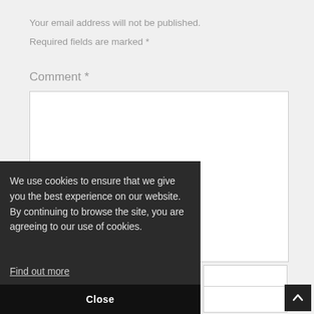Your email address will not be published.
Required fields are marked *
Comment *
[Figure (screenshot): Empty comment textarea input box]
[Figure (screenshot): Cookie consent banner overlay with dark background reading: We use cookies to ensure that we give you the best experience on our website. By continuing to browse the site, you are agreeing to our use of cookies. Find out more. Close button at bottom.]
We use cookies to ensure that we give you the best experience on our website. By continuing to browse the site, you are agreeing to our use of cookies.
Find out more
Close